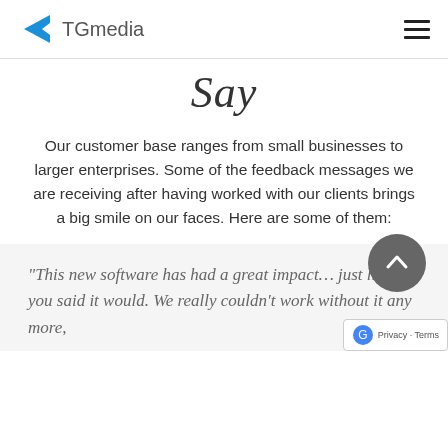TGmedia
Say
Our customer base ranges from small businesses to larger enterprises. Some of the feedback messages we are receiving after having worked with our clients brings a big smile on our faces. Here are some of them:
“This new software has had a great impact… just like you said it would. We really couldn’t work without it any more,